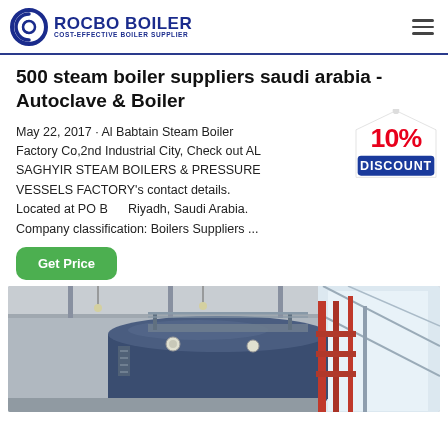ROCBO BOILER — COST-EFFECTIVE BOILER SUPPLIER
500 steam boiler suppliers saudi arabia - Autoclave & Boiler
May 22, 2017 · Al Babtain Steam Boiler Factory Co,2nd Industrial City, Check out AL SAGHYIR STEAM BOILERS & PRESSURE VESSELS FACTORY's contact details. Located at PO Box, Riyadh, Saudi Arabia. Company classification: Boilers Suppliers ...
[Figure (infographic): 10% DISCOUNT badge/sticker in red and white]
[Figure (photo): Industrial boiler equipment inside a factory building with piping and metalwork visible]